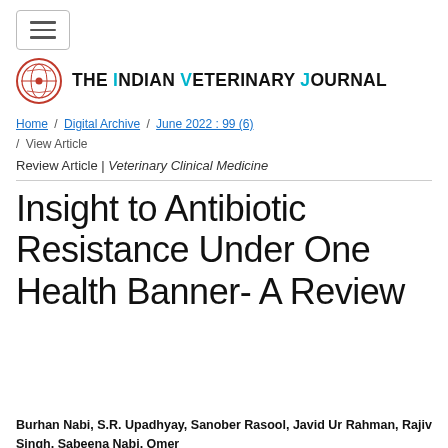THE INDIAN VETERINARY JOURNAL
Home / Digital Archive / June 2022 : 99 (6) / View Article
Review Article | Veterinary Clinical Medicine
Insight to Antibiotic Resistance Under One Health Banner- A Review
Burhan Nabi, S.R. Upadhyay, Sanober Rasool, Javid Ur Rahman, Rajiy Singh, Sabeena Nabi, Omer